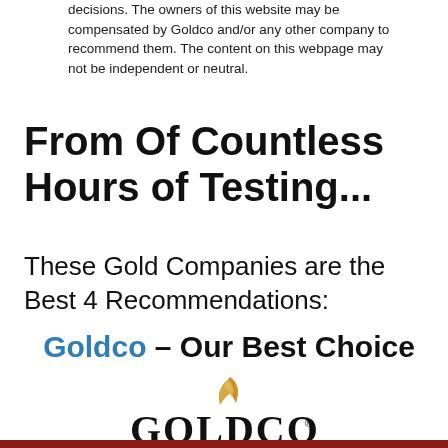decisions. The owners of this website may be compensated by Goldco and/or any other company to recommend them. The content on this webpage may not be independent or neutral.
From Of Countless Hours of Testing...
These Gold Companies are the Best 4 Recommendations:
Goldco – Our Best Choice
[Figure (logo): Goldco logo: golden flame/leaf accent above bold serif text GOLDCO with registered trademark symbol]